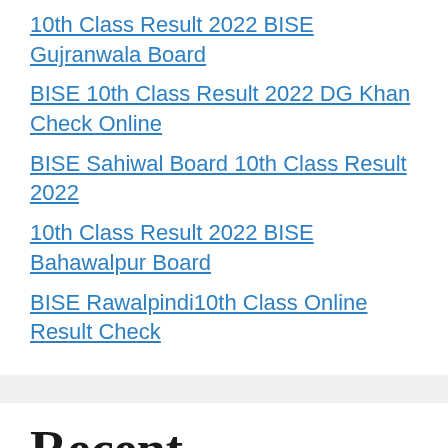10th Class Result 2022 BISE Gujranwala Board
BISE 10th Class Result 2022 DG Khan  Check Online
BISE Sahiwal Board 10th Class Result 2022
10th Class Result 2022 BISE Bahawalpur Board
BISE Rawalpindi10th Class Online Result Check
Recent Comments
irfan on How to apply for UK university scholarships in 2021.